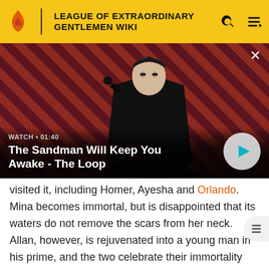LEAGUE OF EXTRAORDINARY GENTLEMEN WIKI
[Figure (screenshot): Video thumbnail showing a dark-cloaked figure with a raven on their shoulder against a red and black diagonal striped background, for the video 'The Sandman Will Keep You Awake - The Loop'. Duration shown: 01:40.]
The Sandman Will Keep You Awake - The Loop
visited it, including Homer, Ayesha and Orlando. Mina becomes immortal, but is disappointed that its waters do not remove the scars from her neck. Allan, however, is rejuvenated into a young man in his prime, and the two celebrate their immortality with three weeks of passion. Allan and Mina agree the powers of the pool are too